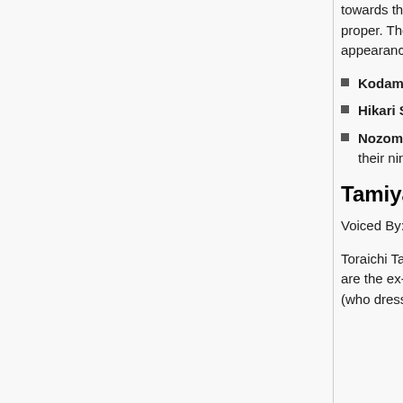towards them. Eventually, they decided to quit their service with Marller and moved into the temple proper. They rarely appear in the mainstream series from that point on, but they do have several appearances in the Mini-Goddess comic strips and TV anime series.
Kodama Genwaku: the infiltration specialist and Mistress of Illusion.
Hikari Senkuo: the weapons and assault specialist. She wears a distinctive spiked ball helmet.
Nozomi Senrigan: the recon specialist. She uses a clarinet to effect her magic and summon their ninja auxiliaries.
Tamiya and Otaki
Voiced By: Kiyoyuki Yanada and Issei Futamata
Toraichi Tamiya | 虎市 田宮 |Tamiya Toraichi and Hikozaemon Otaki| 彦左 大滝 | Otaki Hikozaemon are the ex-directors of the Nekomi Motor Club. Tamiya (a dark-skinned, hulking man) and Otaki (who dresses in punk-style) are rather